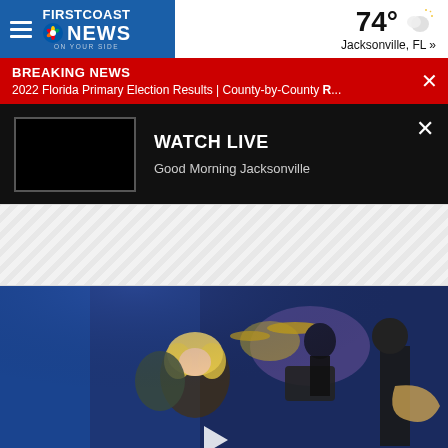FIRST COAST NEWS — 74° Jacksonville, FL »
BREAKING NEWS
2022 Florida Primary Election Results | County-by-County R...
WATCH LIVE
Good Morning Jacksonville
[Figure (photo): Concert stage photo showing a blonde female performer hugging someone, with drummer and guitarist visible in the background, blue stage lighting]